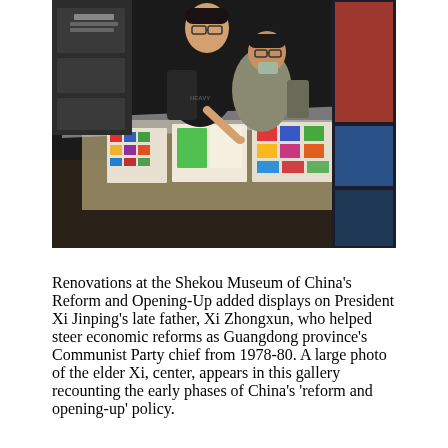[Figure (photo): Two young men wearing glasses and backpacks lean over a glass display case in a museum gallery, examining colorful stamps and documents inside. The museum interior is dark with illuminated displays and large photographs on the walls.]
Renovations at the Shekou Museum of China's Reform and Opening-Up added displays on President Xi Jinping's late father, Xi Zhongxun, who helped steer economic reforms as Guangdong province's Communist Party chief from 1978-80. A large photo of the elder Xi, center, appears in this gallery recounting the early phases of China's 'reform and opening-up' policy.